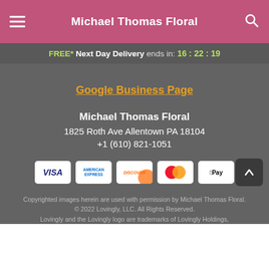Michael Thomas Floral
FREE* Next Day Delivery ends in: 16:22:19
Google Business Page
Michael Thomas Floral
1825 Roth Ave Allentown PA 18104
+1 (610) 821-1051
[Figure (other): Payment method icons: Visa, American Express, Discover, Mastercard, Apple Pay]
Copyrighted images herein are used with permission by Michael Thomas Floral.
© 2022 Lovingly, LLC. All Rights Reserved.
Lovingly and the Lovingly logo are trademarks of Lovingly Holdings,